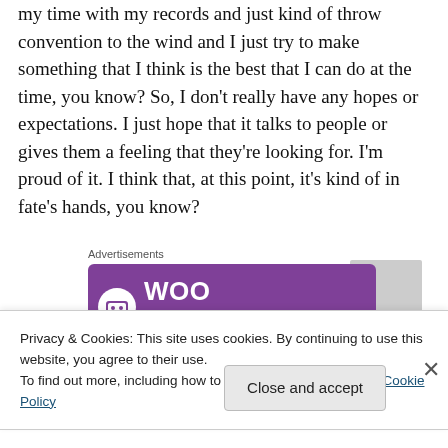my time with my records and just kind of throw convention to the wind and I just try to make something that I think is the best that I can do at the time, you know? So, I don't really have any hopes or expectations. I just hope that it talks to people or gives them a feeling that they're looking for. I'm proud of it. I think that, at this point, it's kind of in fate's hands, you know?
[Figure (screenshot): WooCommerce advertisement banner with purple background and white WooCommerce logo text, with a gray placeholder box to the right]
Privacy & Cookies: This site uses cookies. By continuing to use this website, you agree to their use.
To find out more, including how to control cookies, see here: Cookie Policy
Close and accept